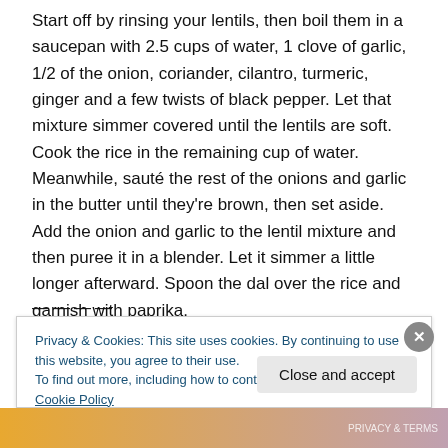Start off by rinsing your lentils, then boil them in a saucepan with 2.5 cups of water, 1 clove of garlic, 1/2 of the onion, coriander, cilantro, turmeric, ginger and a few twists of black pepper. Let that mixture simmer covered until the lentils are soft. Cook the rice in the remaining cup of water. Meanwhile, sauté the rest of the onions and garlic in the butter until they're brown, then set aside. Add the onion and garlic to the lentil mixture and then puree it in a blender. Let it simmer a little longer afterward. Spoon the dal over the rice and garnish with paprika.
————
Privacy & Cookies: This site uses cookies. By continuing to use this website, you agree to their use.
To find out more, including how to control cookies, see here: Cookie Policy
Close and accept